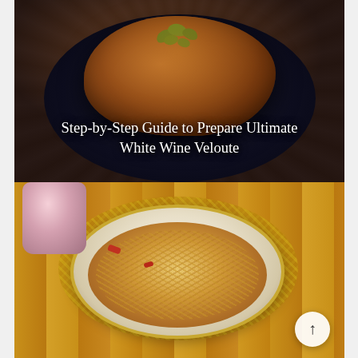[Figure (photo): A glazed meat dish (pork chop) topped with fresh herb garnish (watercress/arugula) and brown sauce, served on a dark decorative plate with radial stripe pattern background. Text overlay reads 'Step-by-Step Guide to Prepare Ultimate White Wine Veloute'.]
Step-by-Step Guide to Prepare Ultimate White Wine Veloute
[Figure (photo): A bowl of noodles with red peppers and toppings, served on a woven placemat on a wooden surface. A floral cup/mug is visible in the upper left. A scroll-to-top button (circle with upward arrow) is visible in the lower right.]